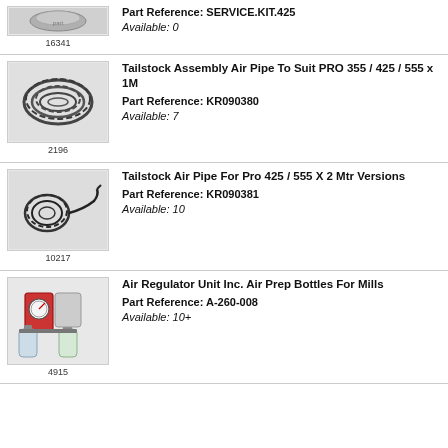[Figure (photo): Partial product image (top portion), item 16341]
16341
Part Reference: SERVICE.KIT.425
Available: 0
[Figure (photo): Coiled air pipe / hose, item 2196]
2196
Tailstock Assembly Air Pipe To Suit PRO 355 / 425 / 555 x 1M
Part Reference: KR090380
Available: 7
[Figure (photo): Coiled black air pipe, item 10217]
10217
Tailstock Air Pipe For Pro 425 / 555 X 2 Mtr Versions
Part Reference: KR090381
Available: 10
[Figure (photo): Air regulator unit with pressure gauge and two clear bottles, item 4915]
4915
Air Regulator Unit Inc. Air Prep Bottles For Mills
Part Reference: A-260-008
Available: 10+